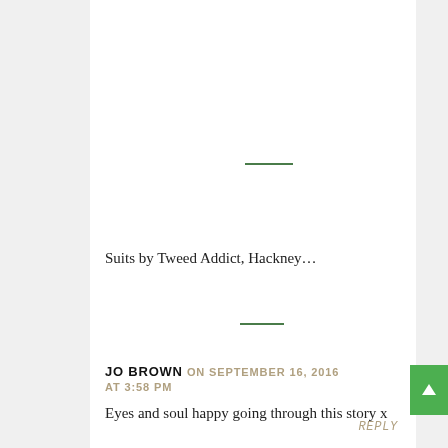Suits by Tweed Addict, Hackney…
JO BROWN ON SEPTEMBER 16, 2016 AT 3:58 PM
Eyes and soul happy going through this story x
REPLY